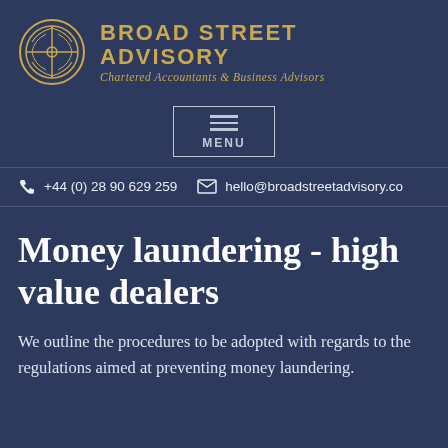[Figure (logo): Broad Street Advisory logo with circular gold emblem and company name]
[Figure (other): Navigation menu button with three horizontal lines and MENU label]
+44 (0) 28 90 629 259   hello@broadstreetadvisory.co
Money laundering - high value dealers
We outline the procedures to be adopted with regards to the regulations aimed at preventing money laundering.